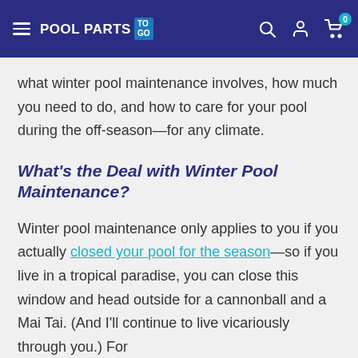POOL PARTS TO GO
what winter pool maintenance involves, how much you need to do, and how to care for your pool during the off-season—for any climate.
What's the Deal with Winter Pool Maintenance?
Winter pool maintenance only applies to you if you actually closed your pool for the season—so if you live in a tropical paradise, you can close this window and head outside for a cannonball and a Mai Tai. (And I'll continue to live vicariously through you.) For